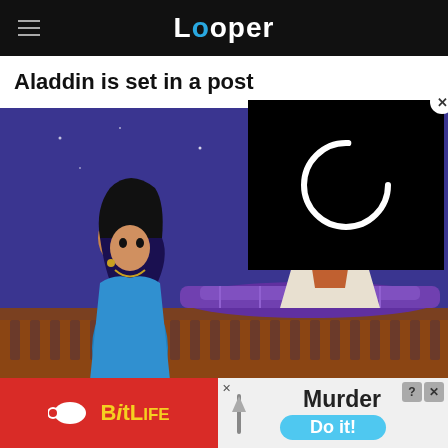Looper
Aladdin is set in a post
[Figure (screenshot): Screenshot of Looper website article about Aladdin, showing cartoon image of Aladdin on a magic carpet with Princess Jasmine, purple night sky background. A black video overlay with a loading spinner is visible in the upper right. A BitLife advertisement is at the bottom with red background and a Murder/Do it! game ad on the right side.]
[Figure (other): Loading video overlay: black panel with a white partial circle (loading spinner) icon]